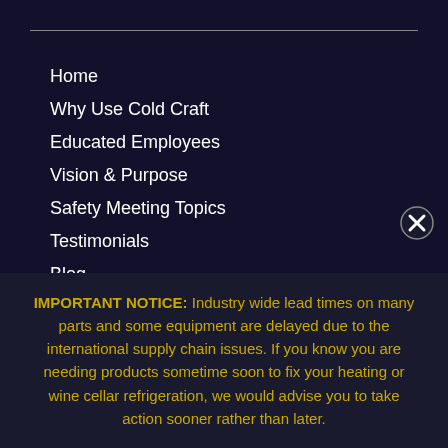Home
Why Use Cold Craft
Educated Employees
Vision & Purpose
Safety Meeting Topics
Testimonials
Blog
Contact
We Hire
Air Scrubber Advanced
IMPORTANT NOTICE: Industry wide lead times on many parts and some equipment are delayed due to the international supply chain issues. If you know you are needing products sometime soon to fix your heating or wine cellar refrigeration, we would advise you to take action sooner rather than later.